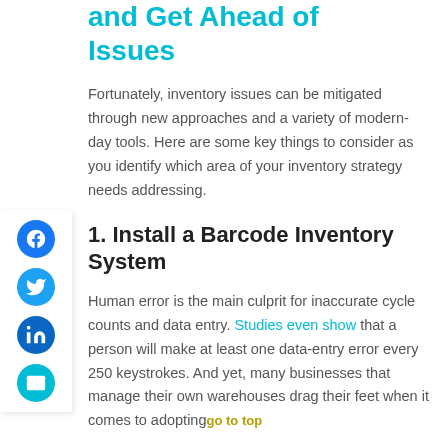and Get Ahead of Issues
Fortunately, inventory issues can be mitigated through new approaches and a variety of modern-day tools. Here are some key things to consider as you identify which area of your inventory strategy needs addressing.
1. Install a Barcode Inventory System
Human error is the main culprit for inaccurate cycle counts and data entry. Studies even show that a person will make at least one data-entry error every 250 keystrokes. And yet, many businesses that manage their own warehouses drag their feet when it comes to adopting